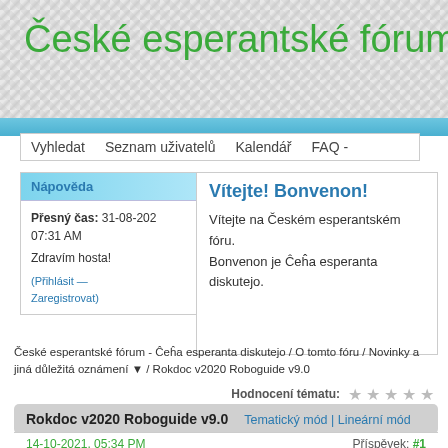České esperantské fórum - Ĉeĥa
Vyhledat  Seznam uživatelů  Kalendář  FAQ -
Nápověda
Vítejte! Bonvenon!
Vítejte na Českém esperantském fóru. Bonvenon je Ĉeĥa esperanta diskutejo.
Přesný čas: 31-08-2021 07:31 AM
Zdravím hosta!
(Přihlásit —
Zaregistrovat)
České esperantské fórum - Ĉeĥa esperanta diskutejo / O tomto fóru / Novinky a jiná důležitá oznámení ▼ / Rokdoc v2020 Roboguide v9.0
Hodnocení tématu:
Rokdoc v2020 Roboguide v9.0   Tematický mód | Lineární mód
14-10-2021, 05:34 PM   Příspěvek: #1